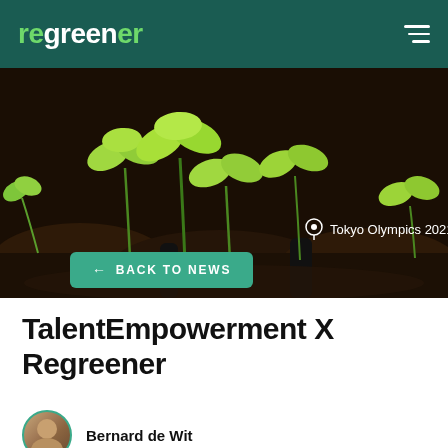regreener
[Figure (photo): Hero photo of young green seedlings/sprouts growing from dark soil. Location tag reads 'Tokyo Olympics 2021'.]
← BACK TO NEWS
TalentEmpowerment X Regreener
Bernard de Wit